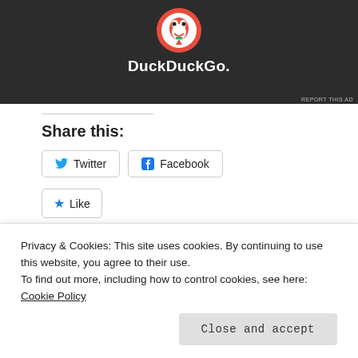[Figure (screenshot): DuckDuckGo advertisement banner with logo and text on dark background with red border]
Share this:
[Figure (screenshot): Twitter share button]
[Figure (screenshot): Facebook share button]
[Figure (screenshot): Like button with star icon and blogger avatars showing 23 bloggers like this]
23 bloggers like this.
Related
[Figure (screenshot): Related post card left]
[Figure (screenshot): Related post card right]
Privacy & Cookies: This site uses cookies. By continuing to use this website, you agree to their use. To find out more, including how to control cookies, see here: Cookie Policy
Close and accept
Hope You Get It Right!!
They Won't Let Me Do It